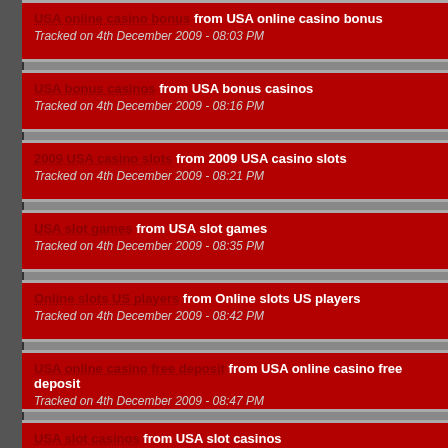USA online casino bonus from USA online casino bonus
Tracked on 4th December 2009 - 08:03 PM
USA bonus casinos from USA bonus casinos
Tracked on 4th December 2009 - 08:16 PM
2009 USA casino slots from 2009 USA casino slots
Tracked on 4th December 2009 - 08:21 PM
USA slot games from USA slot games
Tracked on 4th December 2009 - 08:35 PM
Online slots US players from Online slots US players
Tracked on 4th December 2009 - 08:42 PM
USA online casino free deposit from USA online casino free deposit
Tracked on 4th December 2009 - 08:47 PM
USA slot casinos from USA slot casinos
Tracked on 4th December 2009 - 08:02 PM